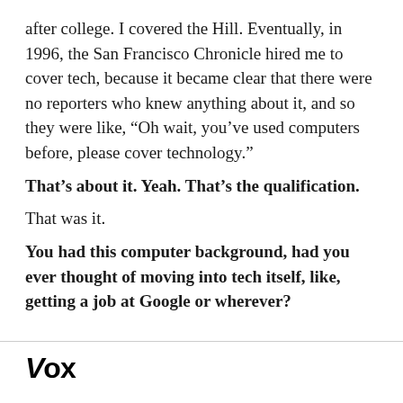after college. I covered the Hill. Eventually, in 1996, the San Francisco Chronicle hired me to cover tech, because it became clear that there were no reporters who knew anything about it, and so they were like, “Oh wait, you’ve used computers before, please cover technology.”
That’s about it. Yeah. That’s the qualification.
That was it.
You had this computer background, had you ever thought of moving into tech itself, like, getting a job at Google or wherever?
Vox